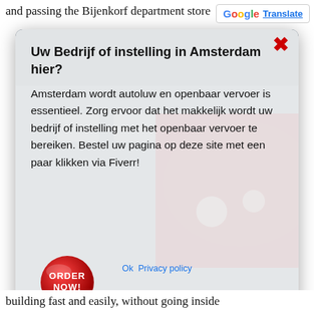and passing the Bijenkorf department store
[Figure (screenshot): Google Translate button in top right corner with G logo and Translate label]
[Figure (screenshot): Modal popup with train background image, close X button, Dutch text about Amsterdam public transport, and an Order Now red button]
building fast and easily, without going inside